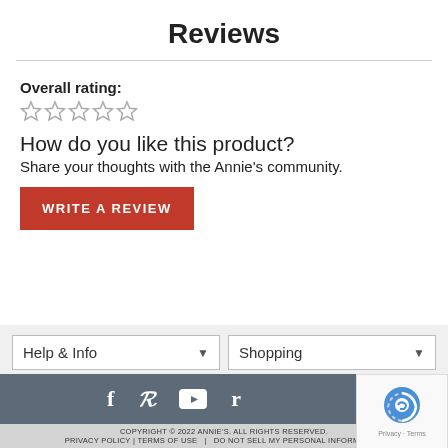Reviews
Overall rating:
[Figure (other): Five empty star rating icons]
How do you like this product?
Share your thoughts with the Annie's community.
WRITE A REVIEW
Help & Info
Shopping
[Figure (other): Social media icons: Facebook, Pinterest, YouTube, Ravelry]
COPYRIGHT © 2022 ANNIE'S. ALL RIGHTS RESERVED. PRIVACY POLICY | TERMS OF USE | DO NOT SELL MY PERSONAL INFORMATION